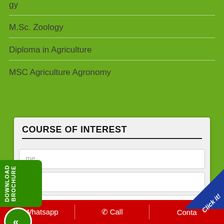M.Sc. Zoology
Diploma in Agriculture
MSC Agriculture Agronomy
COURSE OF INTEREST
me
ail
n
Select Location
[Figure (infographic): Download Brochure button on left side, green rounded rectangle with white text vertical]
[Figure (infographic): Click it badge, blue triangle in bottom right corner]
WhatsApp   Call   Conta...